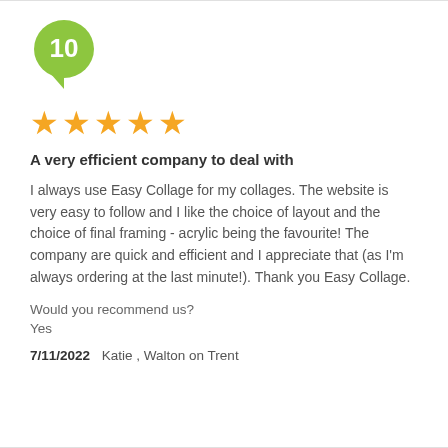[Figure (other): Green speech bubble badge with number 10 inside]
[Figure (other): Five gold star rating]
A very efficient company to deal with
I always use Easy Collage for my collages. The website is very easy to follow and I like the choice of layout and the choice of final framing - acrylic being the favourite! The company are quick and efficient and I appreciate that (as I'm always ordering at the last minute!). Thank you Easy Collage.
Would you recommend us?
Yes
7/11/2022   Katie , Walton on Trent